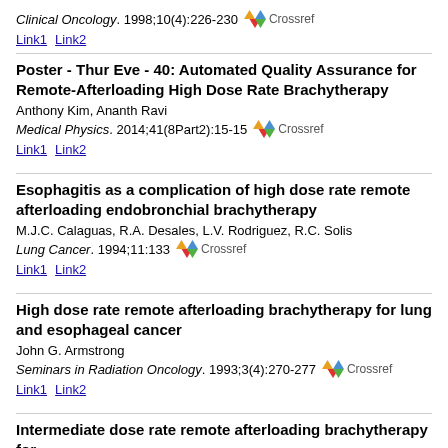Clinical Oncology. 1998;10(4):226-230  [Crossref]
Link1  Link2
Poster - Thur Eve - 40: Automated Quality Assurance for Remote-Afterloading High Dose Rate Brachytherapy
Anthony Kim, Ananth Ravi
Medical Physics. 2014;41(8Part2):15-15  [Crossref]
Link1  Link2
Esophagitis as a complication of high dose rate remote afterloading endobronchial brachytherapy
M.J.C. Calaguas, R.A. Desales, L.V. Rodriguez, R.C. Solis
Lung Cancer. 1994;11:133  [Crossref]
Link1  Link2
High dose rate remote afterloading brachytherapy for lung and esophageal cancer
John G. Armstrong
Seminars in Radiation Oncology. 1993;3(4):270-277  [Crossref]
Link1  Link2
Intermediate dose rate remote afterloading brachytherapy for